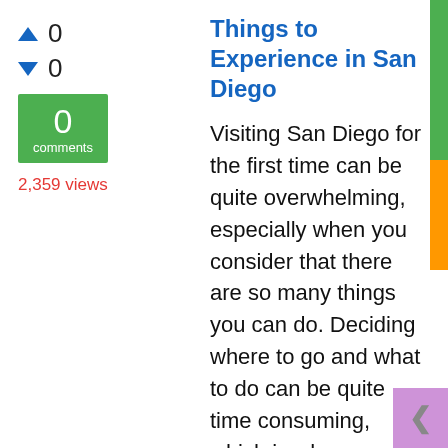Things to Experience in San Diego
0
0
0 comments
2,359 views
Visiting San Diego for the first time can be quite overwhelming, especially when you consider that there are so many things you can do. Deciding where to go and what to do can be quite time consuming, which is where we can help. Below, you'll find the 8 best spots in San Diego - things you simply must ... you look here. Although there are many fine restaurants here, make sure you visit the Old